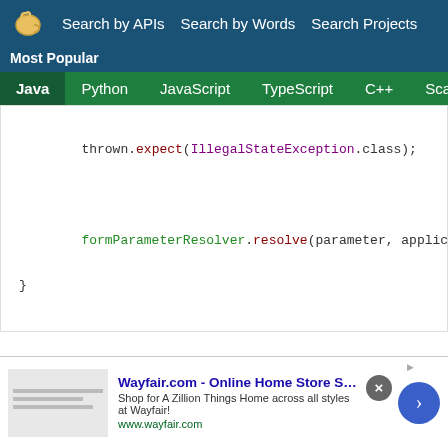Search by APIs  Search by Words  Search Projects
Most Popular
Java  Python  JavaScript  TypeScript  C++  Scala
thrown.expect(IllegalStateException.class);

formParameterResolver.resolve(parameter, applica
}